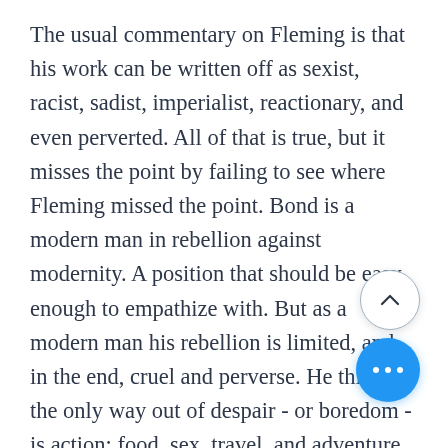The usual commentary on Fleming is that his work can be written off as sexist, racist, sadist, imperialist, reactionary, and even perverted. All of that is true, but it misses the point by failing to see where Fleming missed the point. Bond is a modern man in rebellion against modernity. A position that should be easy enough to empathize with. But as a modern man his rebellion is limited, and, in the end, cruel and perverse. He thinks the only way out of despair - or boredom - is action: food, sex, travel, and adventure. But according to Aquinas, the opposite of acedia, or sloth, is charity. Love, because love is what we do when inspired by the good, and sloth (acedia) is what we do when we sorrow in the face of good. Aquinas says “the proper effect of charity is joy in God, as stated above, while